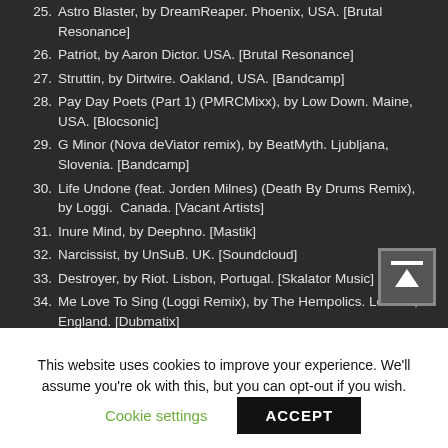25. Astro Blaster, by DreamReaper. Phoenix, USA. [Brutal Resonance]
26. Patriot, by Aaron Dictor. USA. [Brutal Resonance]
27. Struttin, by Dirtwire. Oakland, USA. [Bandcamp]
28. Pay Day Poets (Part 1) (PMRCMixx), by Low Down. Maine, USA. [Blocsonic]
29. G Minor (Nova deViator remix), by BeatMyth. Ljubljana, Slovenia. [Bandcamp]
30. Life Undone (feat. Jorden Milnes) (Death By Drums Remix), by Loggi. Canada. [Vacant Artists]
31. Inure Mind, by Deephno. [Mastik]
32. Narcissist, by UnSuB. UK. [Soundcloud]
33. Destroyer, by Riot. Lisbon, Portugal. [Skalator Music]
34. Me Love To Sing (Loggi Remix), by The Hempolics. London, England. [Dubmatix]
35. Altima, by Concealed Sequence. UK. [Sirona]
This website uses cookies to improve your experience. We'll assume you're ok with this, but you can opt-out if you wish.
Cookie settings | ACCEPT